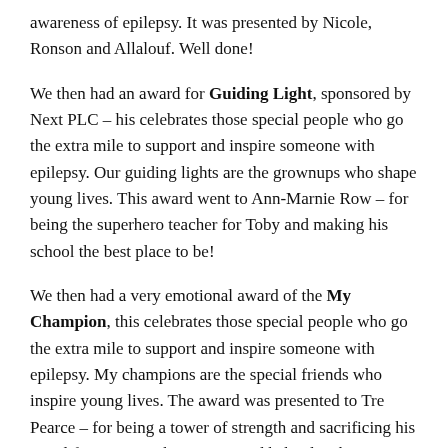awareness of epilepsy. It was presented by Nicole, Ronson and Allalouf. Well done!
We then had an award for Guiding Light, sponsored by Next PLC – his celebrates those special people who go the extra mile to support and inspire someone with epilepsy. Our guiding lights are the grownups who shape young lives. This award went to Ann-Marnie Row – for being the superhero teacher for Toby and making his school the best place to be!
We then had a very emotional award of the My Champion, this celebrates those special people who go the extra mile to support and inspire someone with epilepsy. My champions are the special friends who inspire young lives. The award was presented to Tre Pearce – for being a tower of strength and sacrificing his own life to support his partner and baby daughter.